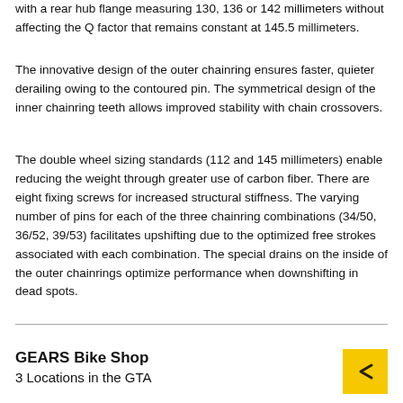with a rear hub flange measuring 130, 136 or 142 millimeters without affecting the Q factor that remains constant at 145.5 millimeters.
The innovative design of the outer chainring ensures faster, quieter derailing owing to the contoured pin. The symmetrical design of the inner chainring teeth allows improved stability with chain crossovers.
The double wheel sizing standards (112 and 145 millimeters) enable reducing the weight through greater use of carbon fiber. There are eight fixing screws for increased structural stiffness. The varying number of pins for each of the three chainring combinations (34/50, 36/52, 39/53) facilitates upshifting due to the optimized free strokes associated with each combination. The special drains on the inside of the outer chainrings optimize performance when downshifting in dead spots.
GEARS Bike Shop
3 Locations in the GTA